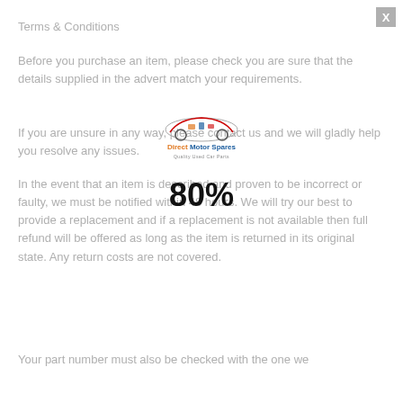X
Terms & Conditions
Before you purchase an item, please check you are sure that the details supplied in the advert match your requirements.
If you are unsure in any way, please contact us and we will gladly help you resolve any issues.
[Figure (logo): Direct Motor Spares logo with a car illustration made of car parts, text: Direct Motor Spares, Quality Used Car Parts]
80%
In the event that an item is described and proven to be incorrect or faulty, we must be notified within 48 hours. We will try our best to provide a replacement and if a replacement is not available then full refund will be offered as long as the item is returned in its original state. Any return costs are not covered.
Your part number must also be checked with the one we